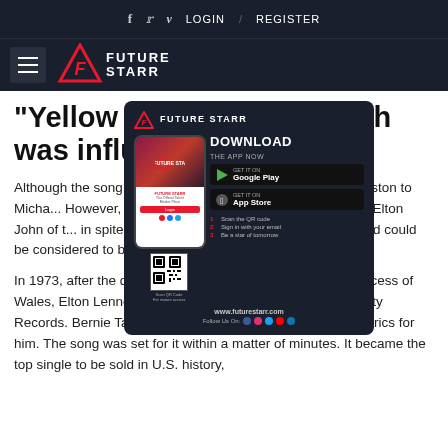f  twitter  v  LOGIN  /  REGISTER
[Figure (logo): Future Starr logo with red star and white text on dark background]
"Yellow Brick Road", which was influenced...
[Figure (screenshot): Future Starr mobile app download advertisement popup showing phone mockup, Google Play and App Store download buttons, QR code, and steps to get started]
Although the song has had many covers (from Whitney Houston to Michael... However, it's "Whitney Houston"... The rendition by Elton John of t... in spite of its popularity. The tra... s inspiration and could be considered to be one of his most memorable songs.
In 1973, after the death of his beloved girlfriend, Diana, Princess of Wales, Elton Lennon answered an advertisement from Liberty Records. Bernie Taupin was his lyricist and he rewrote the lyrics for him. The song was set for it within a matter of minutes. It became the top single to be sold in U.S. history,